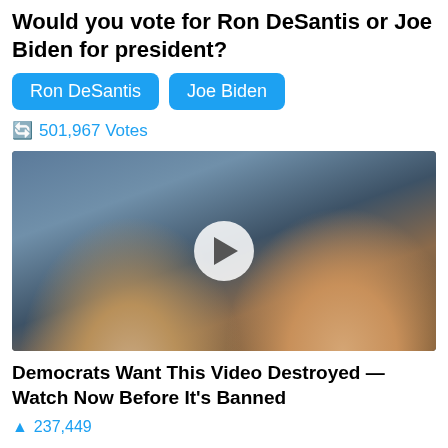Would you vote for Ron DeSantis or Joe Biden for president?
Ron DeSantis  Joe Biden
501,967 Votes
[Figure (photo): Video thumbnail showing two people (a woman with long hair in white and a man in dark suit with red tie) with a play button overlay in the center.]
Democrats Want This Video Destroyed — Watch Now Before It's Banned
237,449
The first launch was in 2010 and four other